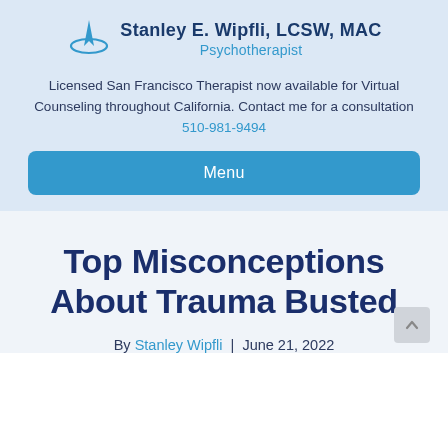[Figure (logo): Stanley E. Wipfli, LCSW, MAC Psychotherapist logo with a star/arrow graphic icon in blue]
Licensed San Francisco Therapist now available for Virtual Counseling throughout California. Contact me for a consultation 510-981-9494
Menu
Top Misconceptions About Trauma Busted
By Stanley Wipfli | June 21, 2022